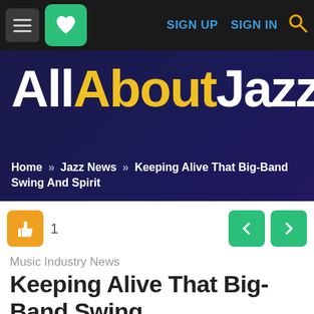[Figure (screenshot): Website navigation bar with hamburger menu, green heart button, SIGN UP and SIGN IN links in blue, and orange search icon on dark background]
[Figure (logo): AllAboutJazz logo on dark navy background with 'All' and 'Jazz' in white and 'About' in yellow, large bold font]
Home » Jazz News » Keeping Alive That Big-Band Swing And Spirit
[Figure (infographic): Orange thumbs-up like button with count of 1, and green left/right navigation arrow buttons]
Music Industry News
Keeping Alive That Big-Band Swing And Spirit